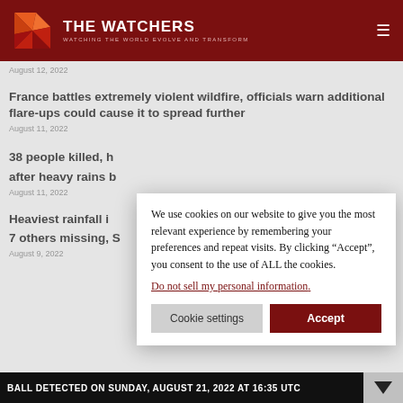THE WATCHERS — WATCHING THE WORLD EVOLVE AND TRANSFORM
August 12, 2022
France battles extremely violent wildfire, officials warn additional flare-ups could cause it to spread further
August 11, 2022
38 people killed, h... after heavy rains b...
August 11, 2022
Heaviest rainfall i... 7 others missing, S...
August 9, 2022
We use cookies on our website to give you the most relevant experience by remembering your preferences and repeat visits. By clicking “Accept”, you consent to the use of ALL the cookies.
Do not sell my personal information.
Cookie settings
Accept
BALL DETECTED ON SUNDAY, AUGUST 21, 2022 AT 16:35 UTC